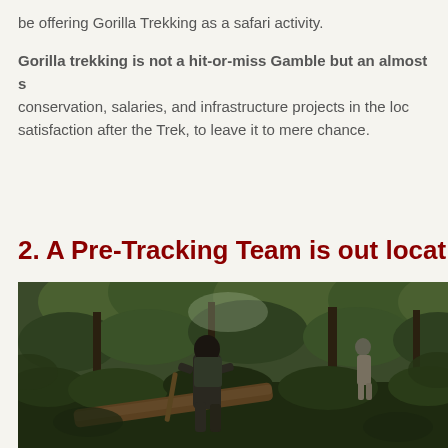be offering Gorilla Trekking as a safari activity.
Gorilla trekking is not a hit-or-miss Gamble but an almost s conservation, salaries, and infrastructure projects in the loc satisfaction after the Trek, to leave it to mere chance.
2. A Pre-Tracking Team is out locating
[Figure (photo): Trackers in a dense green jungle forest, one person visible in foreground carrying equipment, another person visible in background among trees and lush vegetation.]